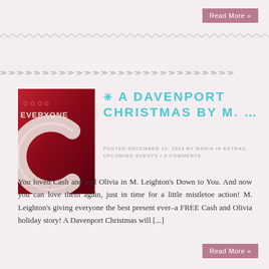Read More »
[Figure (illustration): Decorative zigzag/chevron border lines in gray]
[Figure (photo): Book cover showing 'EVERYONE' text on dark red background with a large stylized letter C]
* A DAVENPORT CHRISTMAS BY M. …
POSTED DECEMBER 19, 2014 BY MARIA IN EXTRAS, UPCOMING EVENTS / 0 COMMENTS
You loved Cash and and Olivia in M. Leighton's Down to You. And now you can love them again, just in time for a little mistletoe action! M. Leighton's giving everyone the best present ever–a FREE Cash and Olivia holiday story! A Davenport Christmas will [...]
Read More »